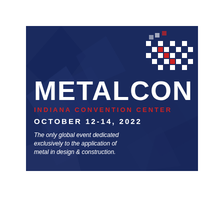[Figure (logo): METALCON event banner with dark navy blue background featuring geometric polygon shapes, a checkered flag pattern with red and white squares in the upper right, bold white 'METALCON' logo text, red 'INDIANA CONVENTION CENTER' subtitle, white 'OCTOBER 12-14, 2022' date line, and white italic tagline 'The only global event dedicated exclusively to the application of metal in design & construction.']